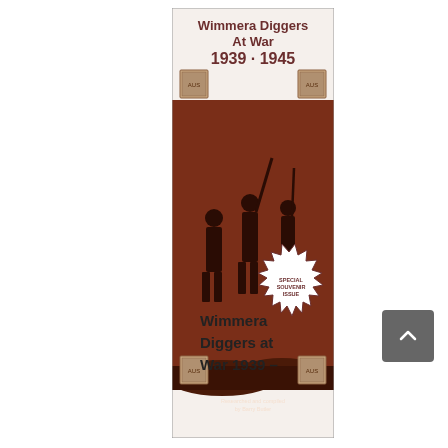[Figure (illustration): Book cover of 'Wimmera Diggers At War 1939-1945'. Dark red/sepia toned cover with silhouettes of three soldiers standing on rocky ground carrying rifles. Decorative postage stamps in corners. A starburst badge reads 'SPECIAL SOUVENIR ISSUE'. Small text at bottom reads 'Researched and compiled by Barry Butler'.]
Wimmera Diggers at War 1939 –